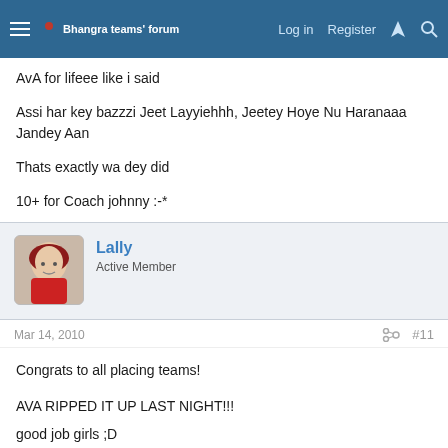Bhangra teams' forum — Log in | Register
AvA for lifeee like i said
Assi har key bazzzi Jeet Layyiehhh, Jeetey Hoye Nu Haranaaa Jandey Aan
Thats exactly wa dey did
10+ for Coach johnny :-*
Lally
Active Member
Mar 14, 2010
#11
Congrats to all placing teams!

AVA RIPPED IT UP LAST NIGHT!!!
good job girls ;D